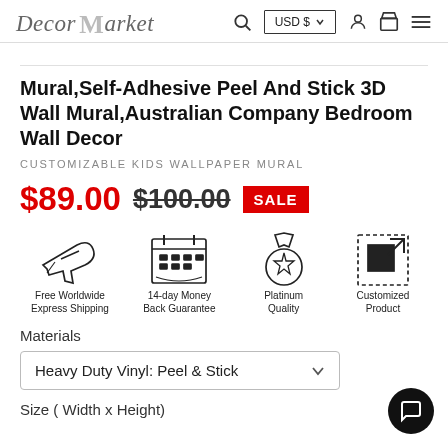Decors Market — USD $ navigation bar
Mural,Self-Adhesive Peel And Stick 3D Wall Mural,Australian Company Bedroom Wall Decor
CUSTOMIZABLE KIDS WALLPAPER MURAL
$89.00  $100.00  SALE
[Figure (infographic): Four icons: airplane (Free Worldwide Express Shipping), calendar (14-day Money Back Guarantee), medal (Platinum Quality), dashed box with arrow (Customized Product)]
Materials
Heavy Duty Vinyl: Peel & Stick
Size ( Width x Height)